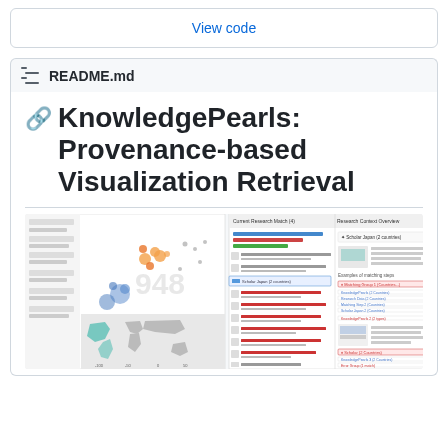View code
README.md
KnowledgePearls: Provenance-based Visualization Retrieval
[Figure (screenshot): Screenshot of the KnowledgePearls application showing a scatter plot visualization on the left with a world map below, and a search/results interface panel on the right with a list of results and detail panel.]